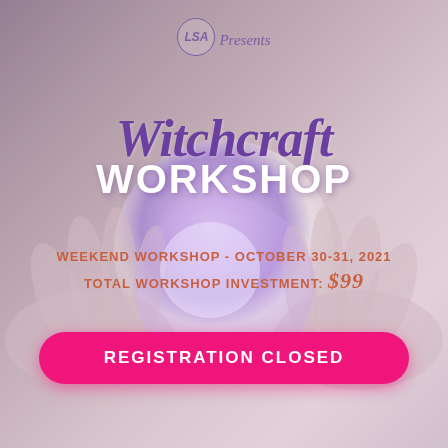[Figure (illustration): Promotional flyer background showing hands holding a glowing crystal ball with mystical purple/pink bokeh effects and feathers]
LSA Presents
Witchcraft WORKSHOP
WEEKEND WORKSHOP - OCTOBER 30-31, 2021
TOTAL WORKSHOP INVESTMENT: $99
REGISTRATION CLOSED